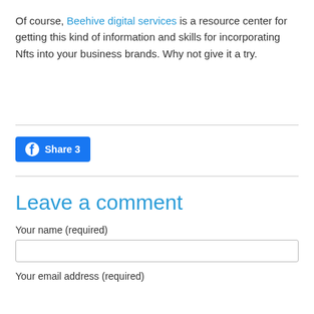Of course, Beehive digital services is a resource center for getting this kind of information and skills for incorporating Nfts into your business brands. Why not give it a try.
[Figure (other): Facebook Share button with count 3]
Leave a comment
Your name (required)
Your email address (required)